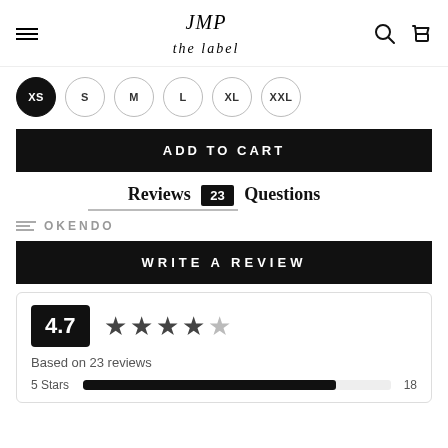JMP the label — navigation header with hamburger, logo, search and cart icons
Size selector: XS (selected), S, M, L, XL, XXL
ADD TO CART
Reviews 23    Questions
OKENDO
WRITE A REVIEW
4.7 ★★★★★ Based on 23 reviews
5 Stars  18